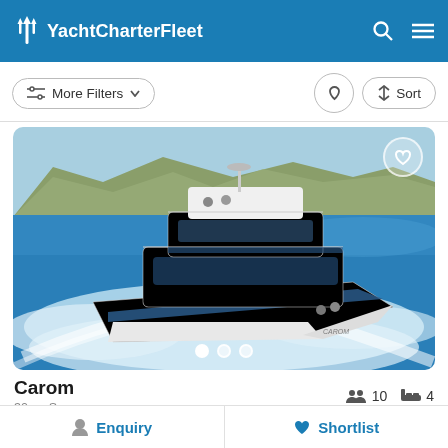YachtCharterFleet
More Filters    Sort
[Figure (photo): A white luxury motor yacht named Carom speeding through blue Mediterranean water with rocky cliffs in the background, creating a large white wake.]
Carom
30m  Sa...
10  4
Enquiry
Shortlist